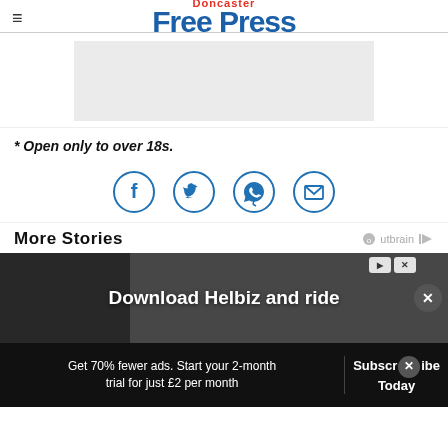Doncaster Free Press
[Figure (other): Grey advertisement placeholder box]
* Open only to over 18s.
[Figure (infographic): Social sharing icons: Facebook, Twitter, WhatsApp, Email]
More Stories
[Figure (screenshot): Download Helbiz and ride promotional banner with photo background]
Get 70% fewer ads. Start your 2-month trial for just £2 per month
Subscribe Today